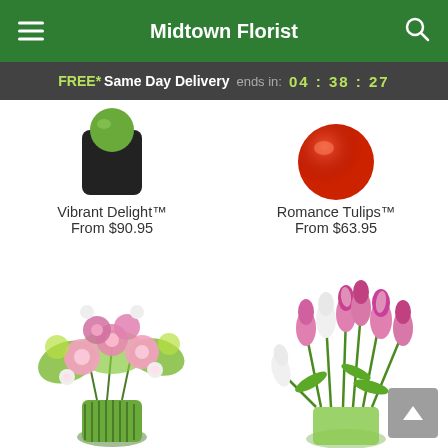Midtown Florist
FREE* Same Day Delivery ends in: 04 : 38 : 27
[Figure (photo): Partial view of Vibrant Delight flower arrangement in dark vase]
Vibrant Delight™
From $90.95
[Figure (photo): Partial view of Romance Tulips arrangement with red sphere]
Romance Tulips™
From $63.95
[Figure (photo): Vibrant mixed flower bouquet with pink and green flowers in striped green vase]
[Figure (photo): Pink and white tulips arrangement in clear green vase]